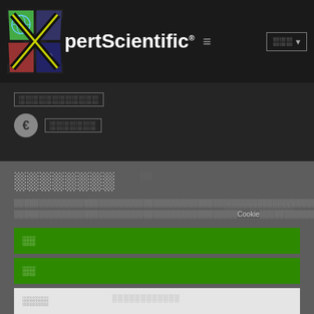XpertScientific
░░░░░░░░░░░ (encoded/corrupted text)
€ ░░░░░░░ (encoded/corrupted text)
░░░░░░░░ (corrupted)
░░░░░░░░░░░░░░░░░░░░░░░░░░░░░░░░░░░░░░░░░░░░░░░░░░░░░░░░░░░░░░░░░░░░░░░░ Cookie░░░░░░░░░░░░░░░░░░░░
░░
░░
░░░░